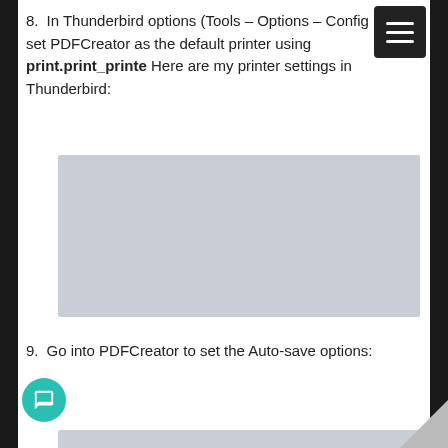8. In Thunderbird options (Tools – Options – Config Editor), set PDFCreator as the default printer using print.print_printer. Here are my printer settings in Thunderbird:
[Figure (screenshot): Screenshot placeholder showing Thunderbird printer settings, rendered as a grey rectangle]
9. Go into PDFCreator to set the Auto-save options:
[Figure (screenshot): Partial screenshot strip at the bottom of the page]